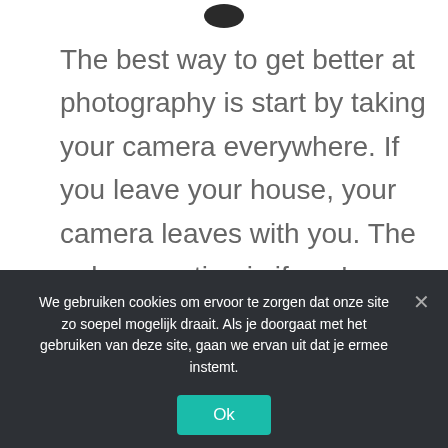The best way to get better at photography is start by taking your camera everywhere. If you leave your house, your camera leaves with you. The only exception is if you're planning for a weekend bender—then probably leave it at home. Other than that,
We gebruiken cookies om ervoor te zorgen dat onze site zo soepel mogelijk draait. Als je doorgaat met het gebruiken van deze site, gaan we ervan uit dat je ermee instemt.
Ok